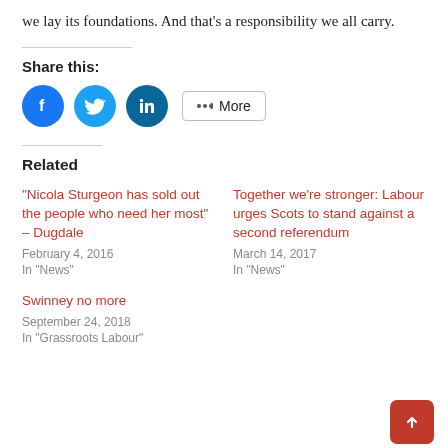we lay its foundations. And that's a responsibility we all carry.
Share this:
[Figure (other): Social share buttons: Facebook (blue circle), Twitter (light blue circle), LinkedIn (dark blue circle), and a More button with share icon]
Related
"Nicola Sturgeon has sold out the people who need her most" – Dugdale
February 4, 2016
In "News"
Together we're stronger: Labour urges Scots to stand against a second referendum
March 14, 2017
In "News"
Swinney no more
September 24, 2018
In "Grassroots Labour"